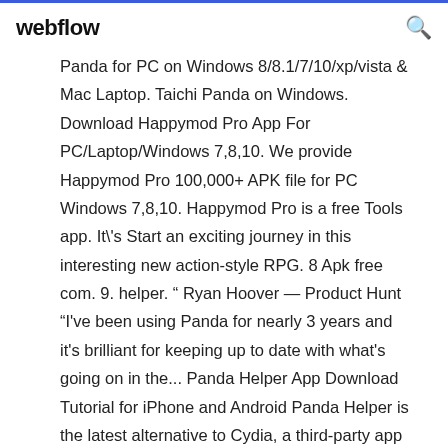webflow
Panda for PC on Windows 8/8.1/7/10/xp/vista & Mac Laptop. Taichi Panda on Windows. Download Happymod Pro App For PC/Laptop/Windows 7,8,10. We provide Happymod Pro 100,000+ APK file for PC Windows 7,8,10. Happymod Pro is a free Tools app. It\'s Start an exciting journey in this interesting new action-style RPG. 8 Apk free com. 9. helper. “ Ryan Hoover — Product Hunt “I've been using Panda for nearly 3 years and it's brilliant for keeping up to date with what's going on in the... Panda Helper App Download Tutorial for iPhone and Android Panda Helper is the latest alternative to Cydia, a third-party app installer that offers a great feature. We...